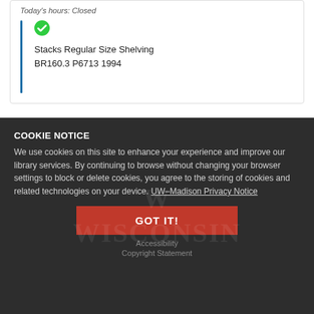Today's hours: Closed
Stacks Regular Size Shelving
BR160.3 P6713 1994
COOKIE NOTICE
We use cookies on this site to enhance your experience and improve our library services. By continuing to browse without changing your browser settings to block or delete cookies, you agree to the storing of cookies and related technologies on your device. UW–Madison Privacy Notice
GOT IT!
Accessibility
Copyright Statement